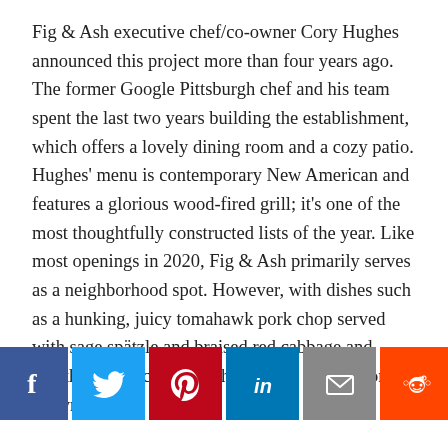Fig & Ash executive chef/co-owner Cory Hughes announced this project more than four years ago. The former Google Pittsburgh chef and his team spent the last two years building the establishment, which offers a lovely dining room and a cozy patio. Hughes' menu is contemporary New American and features a glorious wood-fired grill; it's one of the most thoughtfully constructed lists of the year. Like most openings in 2020, Fig & Ash primarily serves as a neighborhood spot. However, with dishes such as a hunking, juicy tomahawk pork chop served with sage spätzle and braised red cabbage and hearth-roasted carrots with whipped ricotta, honey, brown butter
[Figure (other): Social sharing buttons: Facebook (dark blue), Twitter (light blue), Pinterest (red), LinkedIn (blue), Email (gray), Reddit (orange)]